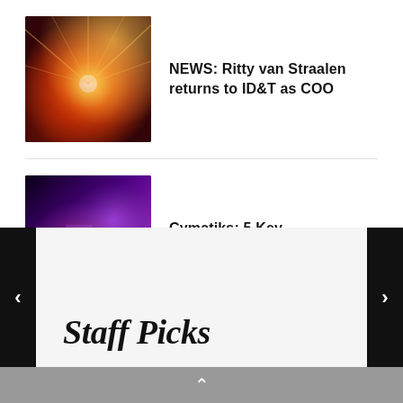[Figure (photo): Thumbnail image with orange/red radial light burst, possibly a concert or explosion effect]
NEWS: Ritty van Straalen returns to ID&T as COO
[Figure (photo): Thumbnail image with purple/pink stage lighting at a concert or festival event]
Cymatiks: 5 Key Performances
[Figure (photo): Thumbnail image of a European city waterfront with colorful buildings, possibly Bruges, Belgium]
TRAVEL: B&B For 2 – Review (Bruges, Belgium)
Staff Picks